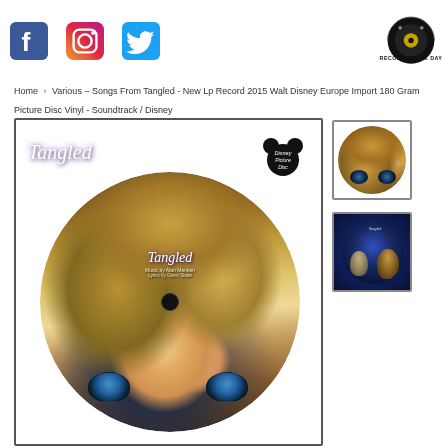[Figure (logo): Social media icons: Facebook, Instagram, Twitter, and Record Store Day logo]
Home › Various – Songs From Tangled - New Lp Record 2015 Walt Disney Europe Import 180 Gram Picture Disc Vinyl - Soundtrack / Disney
[Figure (photo): Main product image: Tangled Disney Songs LP vinyl picture disc album cover with purple background and Rapunzel face on the disc]
[Figure (photo): Thumbnail 1: Close-up of picture disc showing Rapunzel hair detail]
[Figure (photo): Thumbnail 2: Picture disc showing Rapunzel and Flynn Rider on the other side]